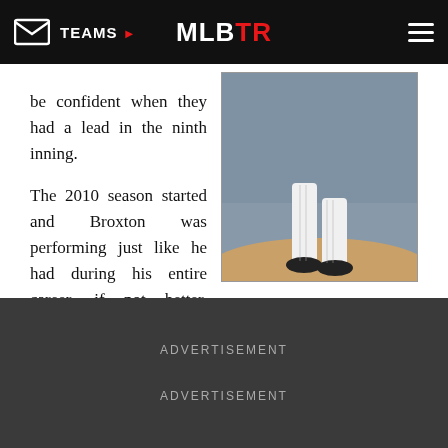TEAMS ▶   MLBTR   ☰
[Figure (photo): A baseball pitcher on the mound, lower body visible in white uniform and cleats, stadium crowd in background]
be confident when they had a lead in the ninth inning.

The 2010 season started and Broxton was performing just like he had during his entire career, if not better. Through his first 33 appearances, he struck out 48 and walked just five in 32 2/3 innings, leading to a 0.48 ERA. But then things started to go bad. Broxton blew a four-run lead against the Yankees on June 27th, throwing a career-high 48 pitches in the inning. He was never the same the rest of the season.
ADVERTISEMENT
ADVERTISEMENT